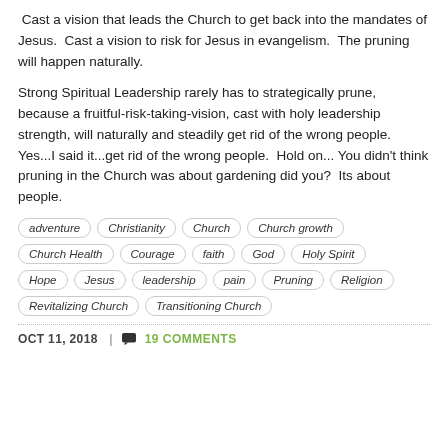Cast a vision that leads the Church to get back into the mandates of Jesus.  Cast a vision to risk for Jesus in evangelism.  The pruning will happen naturally.
Strong Spiritual Leadership rarely has to strategically prune, because a fruitful-risk-taking-vision, cast with holy leadership strength, will naturally and steadily get rid of the wrong people.  Yes...I said it...get rid of the wrong people.  Hold on...  You didn't think pruning in the Church was about gardening did you?  Its about people.
adventure
Christianity
Church
Church growth
Church Health
Courage
faith
God
Holy Spirit
Hope
Jesus
leadership
pain
Pruning
Religion
Revitalizing Church
Transitioning Church
OCT 11, 2018  |  19 COMMENTS